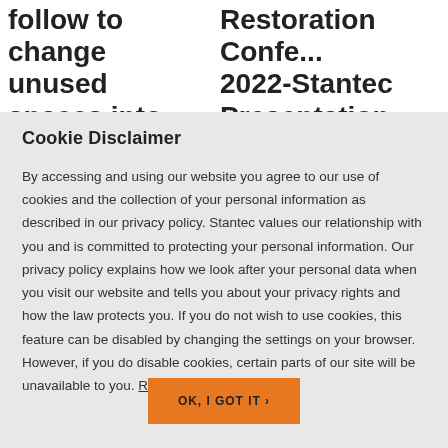follow to change unused spaces into eye-popping pollinator
Restoration Confe... 2022-Stantec Presentation Sche...
Cookie Disclaimer
By accessing and using our website you agree to our use of cookies and the collection of your personal information as described in our privacy policy. Stantec values our relationship with you and is committed to protecting your personal information. Our privacy policy explains how we look after your personal data when you visit our website and tells you about your privacy rights and how the law protects you. If you do not wish to use cookies, this feature can be disabled by changing the settings on your browser. However, if you do disable cookies, certain parts of our site will be unavailable to you. Read More
OK, I GOT IT ›